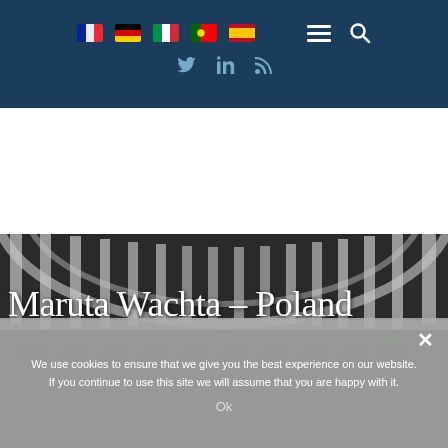Navigation bar with language flags (French, German, Italian, Portuguese, Spanish), menu icon, search icon, and social media icons (Twitter, LinkedIn, RSS)
[Figure (screenshot): Theater or opera house interior showing curved white colonnade balcony with dark seating area below]
Maruta Wachta – Poland
We use cookies to ensure that we give you the best experience on our website. If you continue to use this site we will assume that you are happy with it.